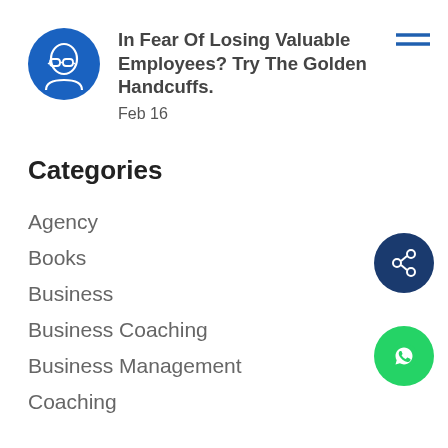[Figure (illustration): Blue circle avatar with white illustrated face wearing glasses]
In Fear Of Losing Valuable Employees? Try The Golden Handcuffs.
Feb 16
Categories
Agency
Books
Business
Business Coaching
Business Management
Coaching